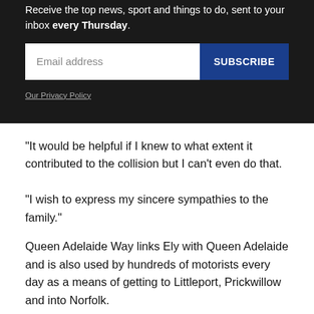Receive the top news, sport and things to do, sent to your inbox every Thursday.
[Figure (screenshot): Email subscription form with an email address input field and a blue SUBSCRIBE button]
Our Privacy Policy
“It would be helpful if I knew to what extent it contributed to the collision but I can’t even do that.
“I wish to express my sincere sympathies to the family.”
Queen Adelaide Way links Ely with Queen Adelaide and is also used by hundreds of motorists every day as a means of getting to Littleport, Prickwillow and into Norfolk.